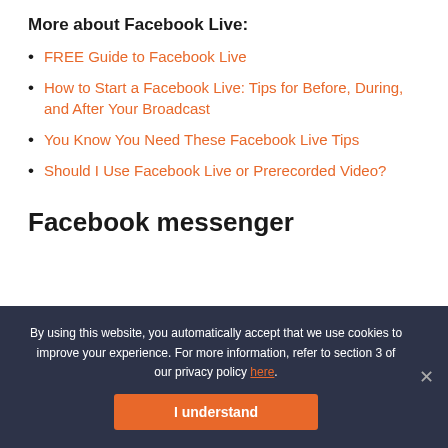More about Facebook Live:
FREE Guide to Facebook Live
How to Start a Facebook Live: Tips for Before, During, and After Your Broadcast
You Know You Need These Facebook Live Tips
Should I Use Facebook Live or Prerecorded Video?
Facebook messenger
By using this website, you automatically accept that we use cookies to improve your experience. For more information, refer to section 3 of our privacy policy here.
I understand